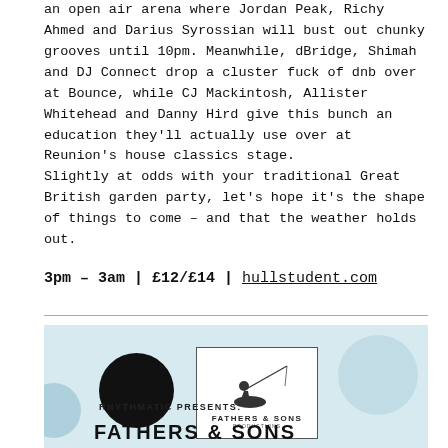an open air arena where Jordan Peak, Richy Ahmed and Darius Syrossian will bust out chunky grooves until 10pm. Meanwhile, dBridge, Shimah and DJ Connect drop a cluster fuck of dnb over at Bounce, while CJ Mackintosh, Allister Whitehead and Danny Hird give this bunch an education they'll actually use over at Reunion's house classics stage.
Slightly at odds with your traditional Great British garden party, let's hope it's the shape of things to come – and that the weather holds out.
3pm – 3am | £12/£14 | hullstudent.com
[Figure (logo): Rhythmatic Presents: Fathers & Sons promotional image with two logos — a black crescent/S circle logo and a Fathers & Sons Productions box logo with a fisherman silhouette. Text reads RHYTHMATIC PRESENTS: FATHERS & SONS]